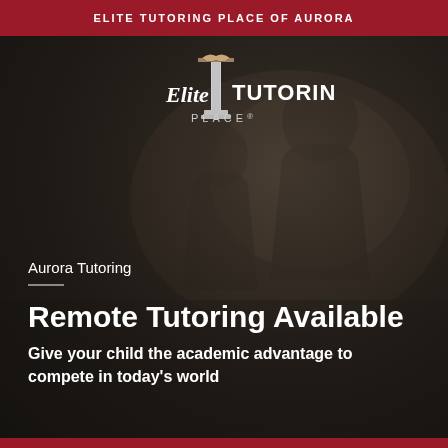ELITE TUTORING PLACE OF AURORA
[Figure (logo): Elite Tutoring Place logo with a column/pillar icon and script 'Elite' text alongside 'TUTORING PLACE' in serif font with registered trademark symbol]
Aurora Tutoring
Remote Tutoring Available
Give your child the academic advantage to compete in today's world